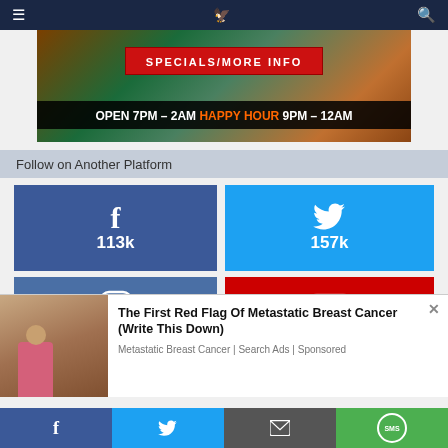Navigation bar with hamburger menu, logo, and search icon
[Figure (photo): Advertisement banner showing colorful background with 'SPECIALS/MORE INFO' button and text 'OPEN 7PM - 2AM HAPPY HOUR 9PM - 12AM']
Follow on Another Platform
[Figure (infographic): Social media follower counts: Facebook 113k, Twitter 157k, Instagram icon, YouTube icon]
[Figure (photo): Advertisement overlay: 'The First Red Flag Of Metastatic Breast Cancer (Write This Down)' - Metastatic Breast Cancer | Search Ads | Sponsored]
Share bar with Facebook, Twitter, Email, and SMS buttons